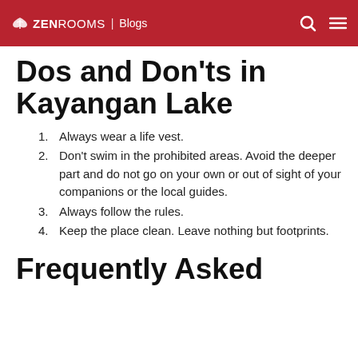ZEN ROOMS | Blogs
Dos and Don'ts in Kayangan Lake
Always wear a life vest.
Don't swim in the prohibited areas. Avoid the deeper part and do not go on your own or out of sight of your companions or the local guides.
Always follow the rules.
Keep the place clean. Leave nothing but footprints.
Frequently Asked